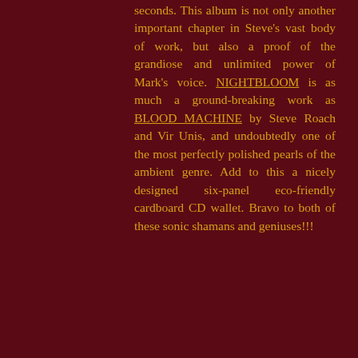seconds. This album is not only another important chapter in Steve's vast body of work, but also a proof of the grandiose and unlimited power of Mark's voice. NIGHTBLOOM is as much a ground-breaking work as BLOOD MACHINE by Steve Roach and Vir Unis, and undoubtedly one of the most perfectly polished pearls of the ambient genre. Add to this a nicely designed six-panel eco-friendly cardboard CD wallet. Bravo to both of these sonic shamans and geniuses!!!